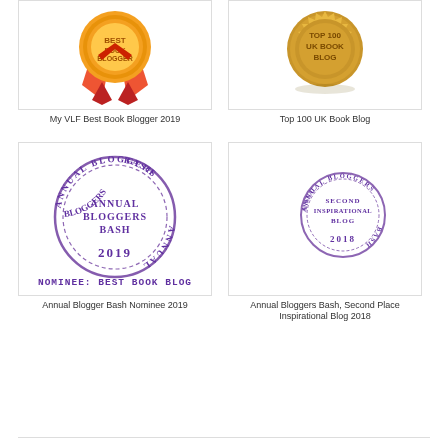[Figure (illustration): Red ribbon award badge - My VLF Best Book Blogger 2019]
My VLF Best Book Blogger 2019
[Figure (illustration): Gold seal badge - Top 100 UK Book Blog]
Top 100 UK Book Blog
[Figure (illustration): Purple circular stamp - Annual Bloggers Bash 2019, Nominee: Best Book Blog]
Annual Blogger Bash Nominee 2019
[Figure (illustration): Small purple circular stamp - Annual Bloggers Bash, Second Inspirational Blog 2018]
Annual Bloggers Bash, Second Place Inspirational Blog 2018